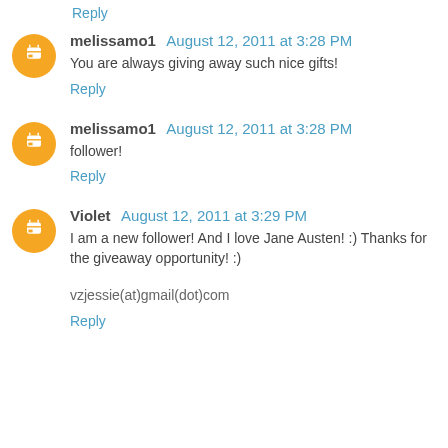Reply
melissamo1  August 12, 2011 at 3:28 PM
You are always giving away such nice gifts!
Reply
melissamo1  August 12, 2011 at 3:28 PM
follower!
Reply
Violet  August 12, 2011 at 3:29 PM
I am a new follower! And I love Jane Austen! :) Thanks for the giveaway opportunity! :)
vzjessie(at)gmail(dot)com
Reply